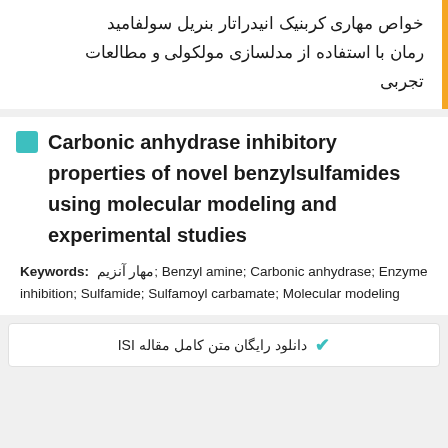خواص مهاری کربنیک انیدراتار بنریل سولفامید رمان با استفاده از مدلسازی مولکولی و مطالعات تجربی
Carbonic anhydrase inhibitory properties of novel benzylsulfamides using molecular modeling and experimental studies
Keywords: مهار آنزیم; Benzyl amine; Carbonic anhydrase; Enzyme inhibition; Sulfamide; Sulfamoyl carbamate; Molecular modeling
✔ دانلود رایگان متن کامل مقاله ISI